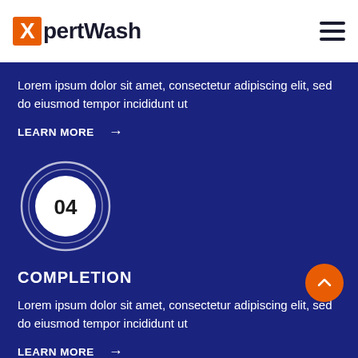[Figure (logo): XpertWash logo with orange X box and dark text, plus hamburger menu icon]
Lorem ipsum dolor sit amet, consectetur adipiscing elit, sed do eiusmod tempor incididunt ut
LEARN MORE →
[Figure (infographic): Circle badge with number 04 inside]
COMPLETION
Lorem ipsum dolor sit amet, consectetur adipiscing elit, sed do eiusmod tempor incididunt ut
LEARN MORE →